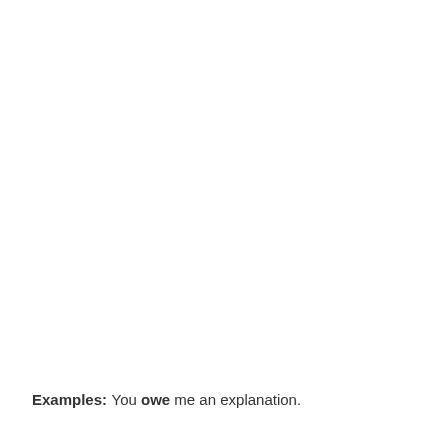Examples:
You owe me an explanation.